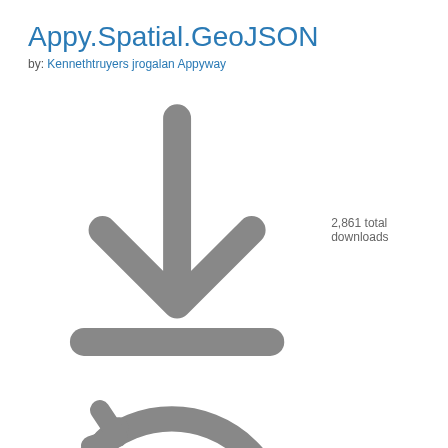Appy.Spatial.GeoJSON
by: Kennethtruyers jrogalan Appyway
2,861 total downloads
last updated a month ago
Latest version: 1.3.0
NET6 NETCore
AppyWay Parsing
Appy.Spatial.GeoJSON.Newtonsoft
by: Kennethtruyers jrogalan Appyway
2,245 total downloads
last updated a month ago
Latest version: 1.3.0
NET6 NETCore
AppyWay Parsing
RxGen